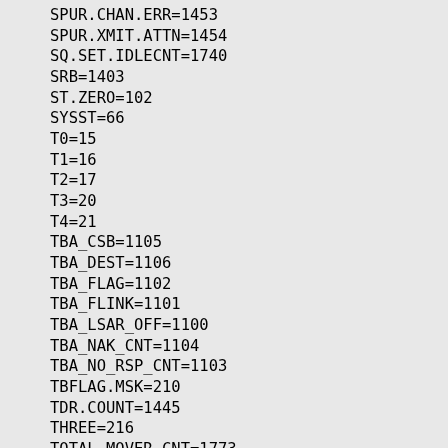SPUR.CHAN.ERR=1453
SPUR.XMIT.ATTN=1454
SQ.SET.IDLECNT=1740
SRB=1403
ST.ZERO=102
SYSST=66
T0=15
T1=16
T2=17
T3=20
T4=21
TBA_CSB=1105
TBA_DEST=1106
TBA_FLAG=1102
TBA_FLINK=1101
TBA_LSAR_OFF=1100
TBA_NAK_CNT=1104
TBA_NO_RSP_CNT=1103
TBFLAG.MSK=210
TDR.COUNT=1445
THREE=216
TOTAL.MOVER.CNT=1773
TP.XMTBSY=1745
TP.XMTPEND=1744
TRANS.BUF=103
TSU=1400
TWO=102
UNPTT.FLINK=1614
UNPTT.INTLK=1615
UNPTT.QUE.LEN=1616